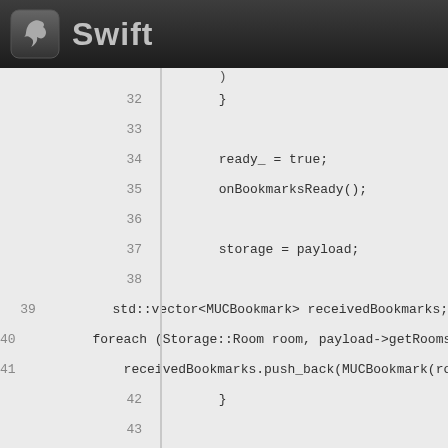Swift
[Figure (screenshot): Swift IDE header logo with bird icon]
32    }
33
34        ready_ = true;
35        onBookmarksReady();
36
37        storage = payload;
38
39        std::vector<MUCBookmark> receivedBookmarks;
40        foreach (Storage::Room room, payload->getRooms(
41            receivedBookmarks.push_back(MUCBookmark(roo
42        }
43
44        std::vector<MUCBookmark> newBookmarks;
45        foreach (const MUCBookmark& oldBookmark, bookmar
46            if (containsEquivalent(receivedBookmarks, ol
47                newBookmarks.push_back(oldBookmark);
48            } else {
49                onBookmarkRemoved(oldBookmark);
50            }